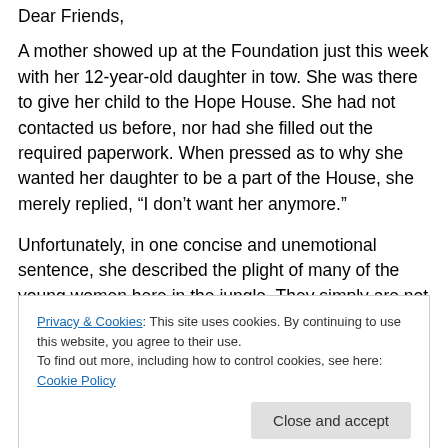Dear Friends,
A mother showed up at the Foundation just this week with her 12-year-old daughter in tow. She was there to give her child to the Hope House. She had not contacted us before, nor had she filled out the required paperwork. When pressed as to why she wanted her daughter to be a part of the House, she merely replied, “I don’t want her anymore.”
Unfortunately, in one concise and unemotional sentence, she described the plight of many of the young women here in the jungle. They simply are not wanted. Even worse is
Privacy & Cookies: This site uses cookies. By continuing to use this website, you agree to their use.
To find out more, including how to control cookies, see here: Cookie Policy
thinking. Our mission is to raise Godly young woman by